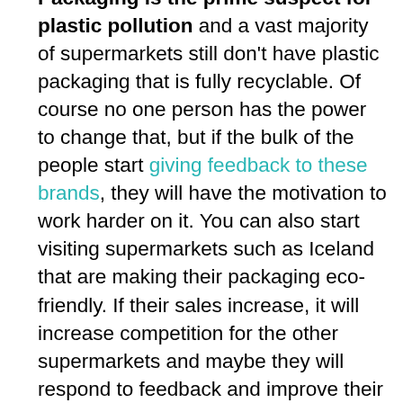Packaging is the prime suspect for plastic pollution and a vast majority of supermarkets still don't have plastic packaging that is fully recyclable. Of course no one person has the power to change that, but if the bulk of the people start giving feedback to these brands, they will have the motivation to work harder on it. You can also start visiting supermarkets such as Iceland that are making their packaging eco-friendly. If their sales increase, it will increase competition for the other supermarkets and maybe they will respond to feedback and improve their packaging.